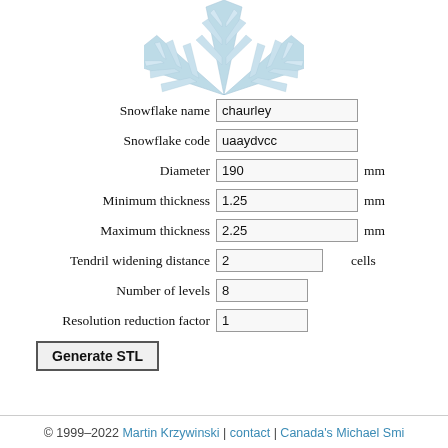[Figure (illustration): Snowflake graphic illustration in light blue color, partially cropped at top]
Snowflake name  chaurley
Snowflake code  uaaydvcc
Diameter  190  mm
Minimum thickness  1.25  mm
Maximum thickness  2.25  mm
Tendril widening distance  2  cells
Number of levels  8
Resolution reduction factor  1
Generate STL
© 1999–2022 Martin Krzywinski | contact | Canada's Michael Smi…